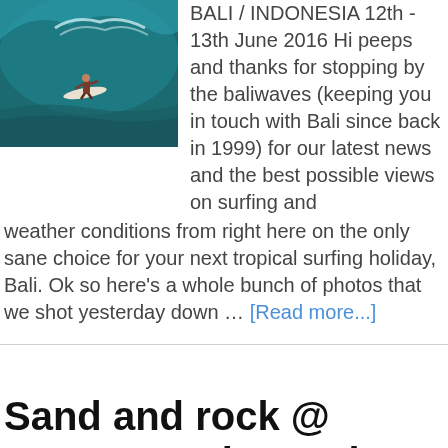[Figure (photo): Surfer riding a large wave in Bali, Indonesia]
BALI / INDONESIA 12th - 13th June 2016 Hi peeps and thanks for stopping by the baliwaves (keeping you in touch with Bali since back in 1999) for our latest news and the best possible views on surfing and weather conditions from right here on the only sane choice for your next tropical surfing holiday, Bali. Ok so here's a whole bunch of photos that we shot yesterday down … [Read more...]
Sand and rock @ Canggu 11th – 12th June 2016